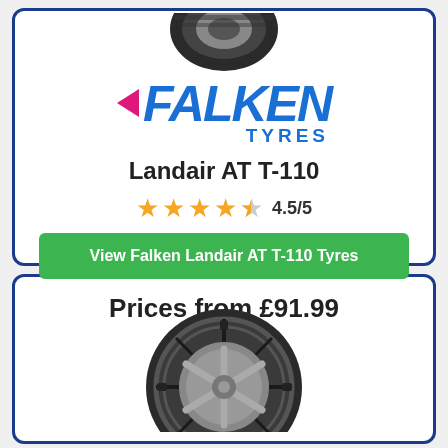[Figure (illustration): Partial view of a tyre at the top of the first card]
[Figure (logo): Falken Tyres logo in blue italic bold text with pink arrow accent]
Landair AT T-110
4.5/5 star rating
View Falken Landair AT T-110 Tyres
Prices from £91.99
[Figure (photo): Falken tyre product photo in the second card, lower half of page]